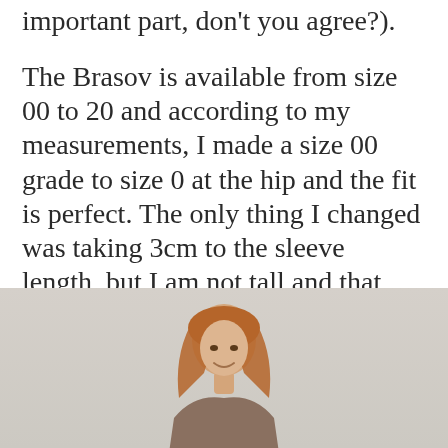important part, don't you agree?).
The Brasov is available from size 00 to 20 and according to my measurements, I made a size 00 grade to size 0 at the hip and the fit is perfect. The only thing I changed was taking 3cm to the sleeve length, but I am not tall and that modification is something I do frequently.
[Figure (photo): A woman with long reddish-blonde hair, smiling, photographed from roughly the shoulders up against a light grey/white background.]